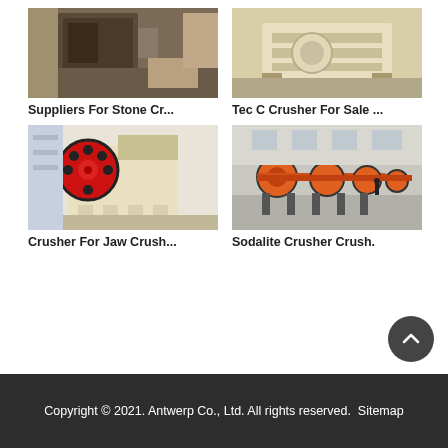[Figure (photo): Industrial crusher machine in factory setting, dark metallic equipment]
Suppliers For Stone Cr...
[Figure (photo): Light beige/cream colored crusher machine on factory floor]
Tec C Crusher For Sale ...
[Figure (photo): Jaw crusher machine with red and black flywheel, cream colored body]
Crusher For Jaw Crush...
[Figure (photo): Row of large orange ball mill grinding machines in industrial warehouse]
Sodalite Crusher Crush.
Copyright © 2021. Antwerp Co., Ltd. All rights reserved.  Sitemap